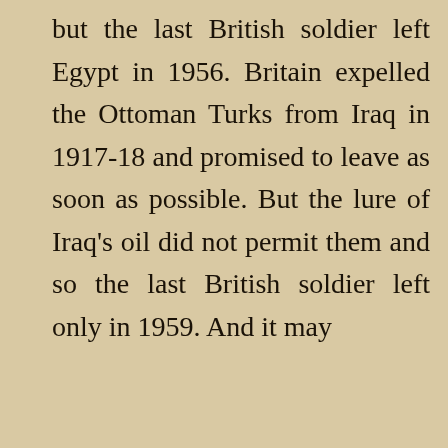but the last British soldier left Egypt in 1956. Britain expelled the Ottoman Turks from Iraq in 1917-18 and promised to leave as soon as possible. But the lure of Iraq's oil did not permit them and so the last British soldier left only in 1959. And it may